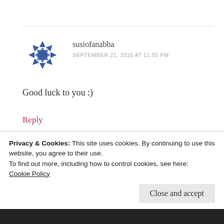[Figure (illustration): Blue snowflake/geometric pattern avatar for user susiofanabba]
susiofanabba
SEPTEMBER 21, 2015 AT 11:55 PM
Good luck to you :)
Reply
[Figure (photo): Partially visible circular photo avatar for Alexa S. Winters]
Alexa S. Winters
Privacy & Cookies: This site uses cookies. By continuing to use this website, you agree to their use.
To find out more, including how to control cookies, see here:
Cookie Policy
Close and accept